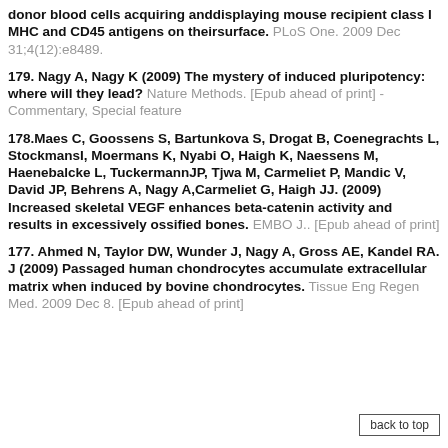donor blood cells acquiring anddisplaying mouse recipient class I MHC and CD45 antigens on theirsurface. PLoS One. 2009 Dec 31;4(12):e8489.
179. Nagy A, Nagy K (2009) The mystery of induced pluripotency: where will they lead? Nature Methods. [Epub ahead of print] - Commentary, Special feature
178.Maes C, Goossens S, Bartunkova S, Drogat B, Coenegrachts L, StockmansI, Moermans K, Nyabi O, Haigh K, Naessens M, Haenebalcke L, TuckermannJP, Tjwa M, Carmeliet P, Mandic V, David JP, Behrens A, Nagy A,Carmeliet G, Haigh JJ. (2009) Increased skeletal VEGF enhances beta-catenin activity and results in excessively ossified bones. EMBO J.. [Epub ahead of print]
177. Ahmed N, Taylor DW, Wunder J, Nagy A, Gross AE, Kandel RA. J (2009) Passaged human chondrocytes accumulate extracellular matrix when induced by bovine chondrocytes. Tissue Eng Regen Med. 2009 Dec 8. [Epub ahead of print]